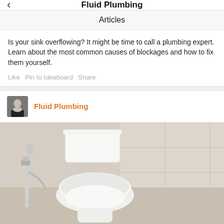Fluid Plumbing
Articles
Is your sink overflowing? It might be time to call a plumbing expert. Learn about the most common causes of blockages and how to fix them yourself.
Like · Pin to Ideaboard · Share
Fluid Plumbing
[Figure (photo): A white toilet with a bidet spray attachment on the left side, set against beige tiled wall, photographed from slightly above and in front.]